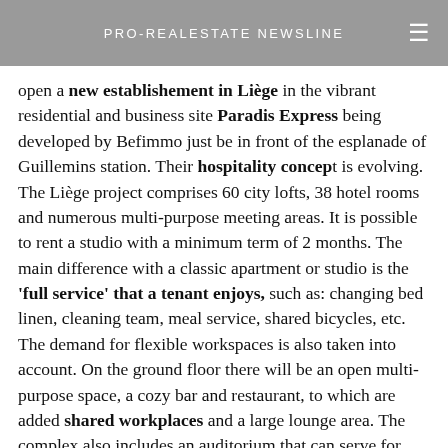PRO-REALESTATE NEWSLINE
open a new establishement in Liège in the vibrant residential and business site Paradis Express being developed by Befimmo just be in front of the esplanade of Guillemins station. Their hospitality concept is evolving. The Liège project comprises 60 city lofts, 38 hotel rooms and numerous multi-purpose meeting areas. It is possible to rent a studio with a minimum term of 2 months. The main difference with a classic apartment or studio is the 'full service' that a tenant enjoys, such as: changing bed linen, cleaning team, meal service, shared bicycles, etc. The demand for flexible workspaces is also taken into account. On the ground floor there will be an open multi-purpose space, a cozy bar and restaurant, to which are added shared workplaces and a large lounge area. The complex also includes an auditorium that can serve for different types of events.To finance this project, in